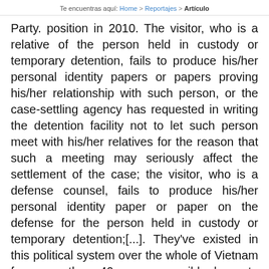Te encuentras aquí: Home > Reportajes > Artículo
Party. position in 2010. The visitor, who is a relative of the person held in custody or temporary detention, fails to produce his/her personal identity papers or papers proving his/her relationship with such person, or the case-settling agency has requested in writing the detention facility not to let such person meet with his/her relatives for the reason that such a meeting may seriously affect the settlement of the case; the visitor, who is a defense counsel, fails to produce his/her personal identity paper or paper on the defense for the person held in custody or temporary detention;[...]. They've existed in this political system over the whole of Vietnam for more than 40 years. possibly have to confront the other, which means more enemies.